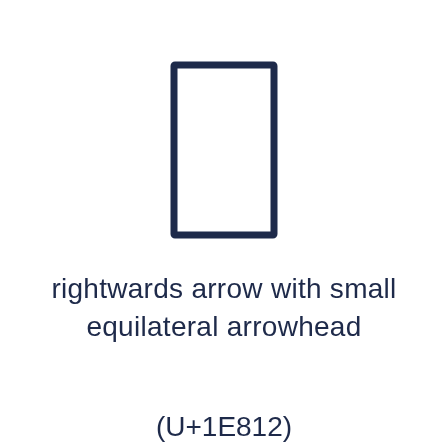[Figure (illustration): A tall narrow rectangle outline drawn with a dark navy border, representing the Unicode character U+1E812 (rightwards arrow with small equilateral arrowhead) as a glyph preview box.]
rightwards arrow with small equilateral arrowhead
(U+1E812)